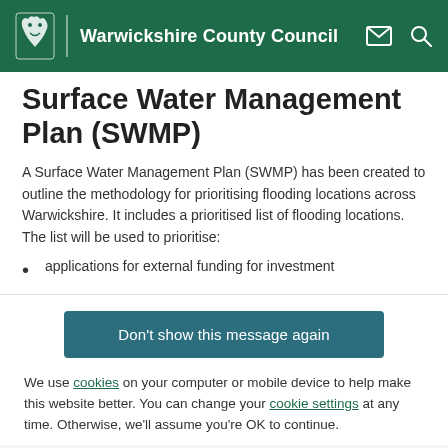Warwickshire County Council
Surface Water Management Plan (SWMP)
A Surface Water Management Plan (SWMP) has been created to outline the methodology for prioritising flooding locations across Warwickshire. It includes a prioritised list of flooding locations. The list will be used to prioritise:
applications for external funding for investment
Don't show this message again
We use cookies on your computer or mobile device to help make this website better. You can change your cookie settings at any time. Otherwise, we'll assume you're OK to continue.